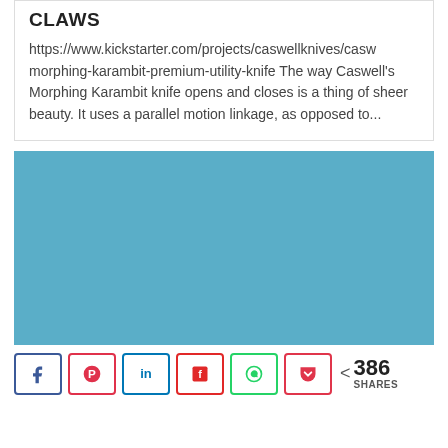CLAWS
https://www.kickstarter.com/projects/caswellknives/casw morphing-karambit-premium-utility-knife The way Caswell's Morphing Karambit knife opens and closes is a thing of sheer beauty. It uses a parallel motion linkage, as opposed to...
[Figure (photo): Blue placeholder image for an embedded media or video]
< 386 SHARES (social share buttons: Facebook, Pinterest, LinkedIn, Flipboard, WhatsApp, Pocket)